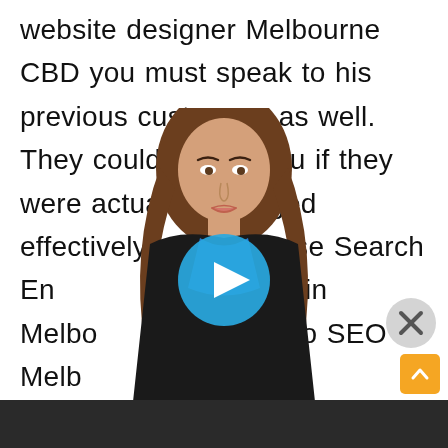website designer Melbourne CBD you must speak to his previous customers as well. They could inform you if they were actually managed effectively or otherwise Search Engine Optimization in Melbourne and also SEO Melbourne Custom...orm
[Figure (screenshot): Video overlay showing a woman with long brown hair wearing a black blazer and blue top, with a blue circular play button in the center, an X close button in the top right, and a dark bottom bar. An orange scroll-to-top button is at the bottom right.]